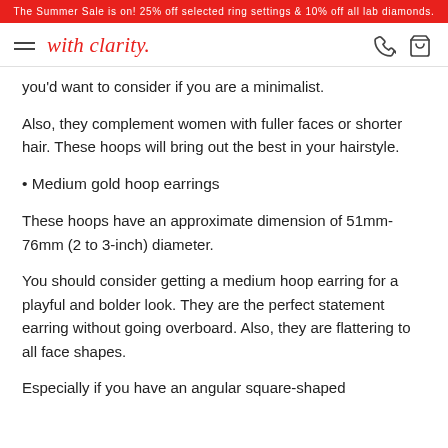The Summer Sale is on! 25% off selected ring settings & 10% off all lab diamonds.
with clarity.
you'd want to consider if you are a minimalist.
Also, they complement women with fuller faces or shorter hair. These hoops will bring out the best in your hairstyle.
Medium gold hoop earrings
These hoops have an approximate dimension of 51mm-76mm (2 to 3-inch) diameter.
You should consider getting a medium hoop earring for a playful and bolder look. They are the perfect statement earring without going overboard. Also, they are flattering to all face shapes.
Especially if you have an angular square-shaped